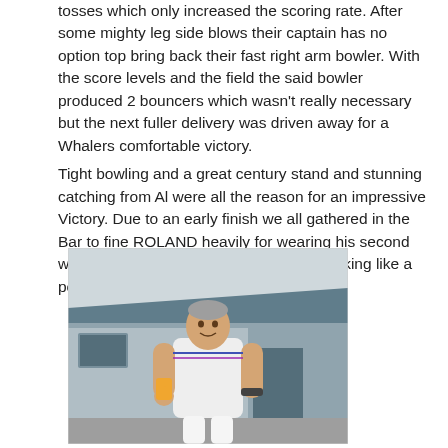tosses which only increased the scoring rate. After some mighty leg side blows their captain has no option top bring back their fast right arm bowler. With the score levels and the field the said bowler produced 2 bouncers which wasn't really necessary but the next fuller delivery was driven away for a Whalers comfortable victory.
Tight bowling and a great century stand and stunning catching from Al were all the reason for an impressive Victory. Due to an early finish we all gathered in the Bar to fine ROLAND heavily for wearing his second whites kit in the Bar whilst supposedly looking like a porn star.
[Figure (photo): A man in white cricket whites/sleeveless sweater holding a drink, standing outside in front of a building, smiling at the camera.]